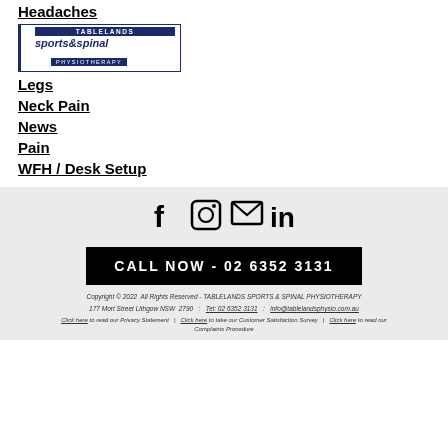Headaches
[Figure (logo): Tablelands Sports & Spinal Physiotherapy logo]
Legs
Neck Pain
News
Pain
WFH / Desk Setup
[Figure (infographic): Social media icons: Facebook, Instagram, Email, LinkedIn]
CALL NOW - 02 6352 3131
Copyright © 2022  All Rights Reserved - TABLELANDS SPORTS & SPINAL PHYSIOTHERAPY
177 Mort Street Lithgow NSW  2790  :  Tel: 02 6352 3131  :  info@tablelandsphysio.com.au
Click here to read our Privacy Statement   |   Click here to take our Customer Satisfaction Survey   |   Click here to read our Complaints Procedure